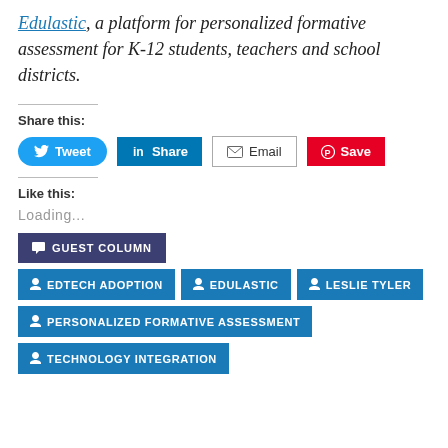Edulastic, a platform for personalized formative assessment for K-12 students, teachers and school districts.
Share this:
[Figure (infographic): Social share buttons: Tweet (Twitter, blue), Share (LinkedIn, dark blue), Email (white/gray border), Save (Pinterest, red)]
Like this:
Loading...
GUEST COLUMN
EDTECH ADOPTION  EDULASTIC  LESLIE TYLER  PERSONALIZED FORMATIVE ASSESSMENT  TECHNOLOGY INTEGRATION